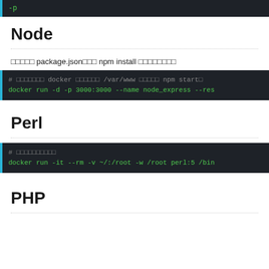[Figure (screenshot): Dark terminal code block showing '-p' command text]
Node
□□□□□ package.json□□□ npm install □□□□□□□□
[Figure (screenshot): Dark terminal code block: comment line about docker and /var/www and npm start, then docker run -d -p 3000:3000 --name node_express --res...]
Perl
[Figure (screenshot): Dark terminal code block: comment line, then docker run -it --rm -v ~/:/root -w /root perl:5 /bin...]
PHP